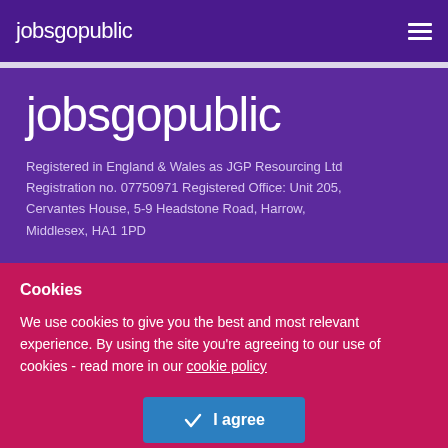jobsgopublic
jobsgopublic
Registered in England & Wales as JGP Resourcing Ltd Registration no. 07750971 Registered Office: Unit 205, Cervantes House, 5-9 Headstone Road, Harrow, Middlesex, HA1 1PD
Cookies
We use cookies to give you the best and most relevant experience. By using the site you're agreeing to our use of cookies - read more in our cookie policy
I agree